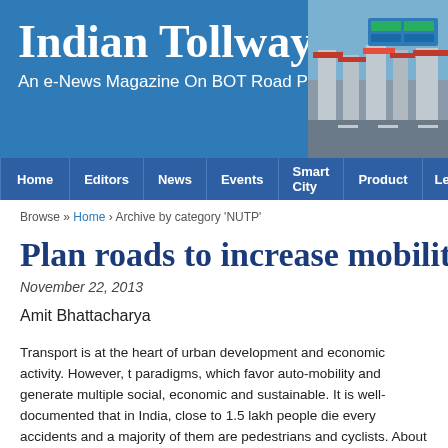Indian Tollways — An e-News Magazine On BOT Road Projects
[Figure (photo): Tollway/road infrastructure photo in header]
Home | Editors | News | Events | Smart City | Product | Leisure
Browse » Home › Archive by category 'NUTP'
Plan roads to increase mobility, r
November 22, 2013
Amit Bhattacharya
Transport is at the heart of urban development and economic activity. However, t paradigms, which favor auto-mobility and generate multiple social, economic and sustainable. It is well-documented that in India, close to 1.5 lakh people die every accidents and a majority of them are pedestrians and cyclists. About 6 lakh prem country annually on account of air pollution and about 4 lakh people die every ye